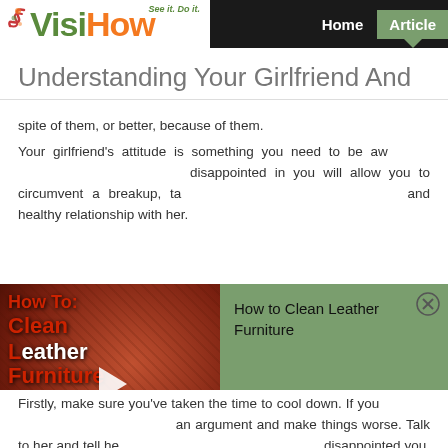[Figure (logo): VisiHow logo with tagline 'See it. Do it.' in green and orange colors]
Home  Articles
Understanding Your Girlfriend And...
spite of them, or better, because of them.
Your girlfriend's attitude is something you need to be aw... disappointed in you will allow you to circumvent a breakup, ta... and healthy relationship with her.
[Figure (screenshot): Video ad for 'How to Clean Leather Furniture' showing video thumbnail on left with red text and play button, and green info panel on right with close button]
Firstly, make sure you've taken the time to cool down. If you... an argument and make things worse. Talk to her and tell he... disappointed you. If you let her know your feelings about w...